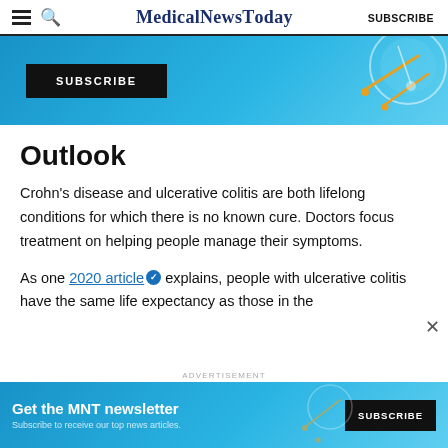MedicalNewsToday  SUBSCRIBE
[Figure (illustration): Blue advertisement banner with a black SUBSCRIBE button and a circular scientific/microscope illustration on the right side]
Outlook
Crohn's disease and ulcerative colitis are both lifelong conditions for which there is no known cure. Doctors focus treatment on helping people manage their symptoms.
As one 2020 article [trusted source badge] explains, people with ulcerative colitis have the same life expectancy as those in the
[Figure (illustration): Bottom advertisement banner: Get the MNT newsletter. Subscribe to receive our top news articles. With a SUBSCRIBE button and blue scientific illustration background.]